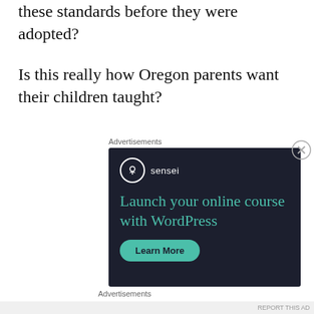these standards before they were adopted?
Is this really how Oregon parents want their children taught?
Advertisements
[Figure (infographic): Sensei advertisement with dark navy background. Shows Sensei logo (tree icon in circle), headline 'Launch your online course with WordPress' in teal, and a 'Learn More' teal pill button.]
Advertisements